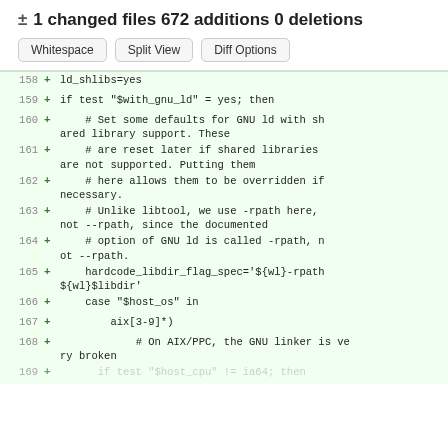± 1 changed files 672 additions 0 deletions
Whitespace | Split View | Diff Options
158 + ld_shlibs=yes
159 + if test "$with_gnu_ld" = yes; then
160 +   # Set some defaults for GNU ld with shared library support. These
161 +   # are reset later if shared libraries are not supported. Putting them
162 +   # here allows them to be overridden if necessary.
163 +   # Unlike libtool, we use -rpath here, not --rpath, since the documented
164 +   # option of GNU ld is called -rpath, not --rpath.
165 +   hardcode_libdir_flag_spec='${wl}-rpath ${wl}$libdir'
166 +   case "$host_os" in
167 +     aix[3-9]*)
168 +       # On AIX/PPC, the GNU linker is very broken
169 +   if test "$host_cpu" != ia64; then